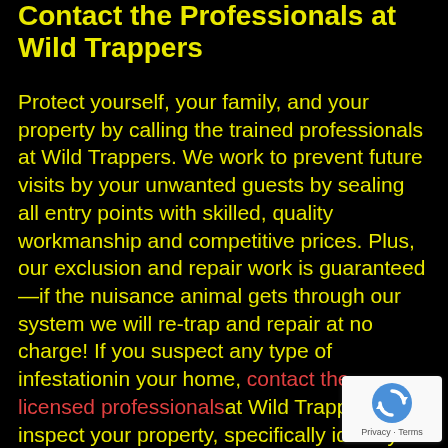Contact the Professionals at Wild Trappers
Protect yourself, your family, and your property by calling the trained professionals at Wild Trappers. We work to prevent future visits by your unwanted guests by sealing all entry points with skilled, quality workmanship and competitive prices. Plus, our exclusion and repair work is guaranteed—if the nuisance animal gets through our system we will re-trap and repair at no charge! If you suspect any type of infestationin your home, contact the licensed professionalsat Wild Trappers to inspect your property, specifically identify your problem, and
[Figure (other): reCAPTCHA badge with circular arrow icon and Privacy/Terms text]